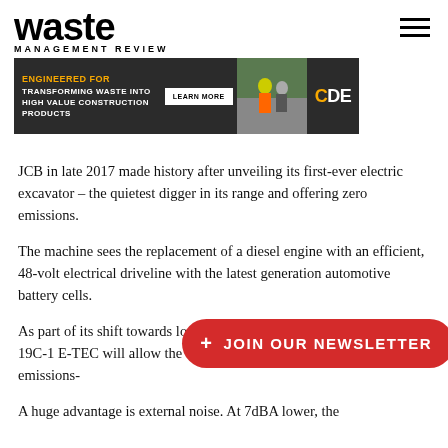waste MANAGEMENT REVIEW
[Figure (other): CDE brand banner advertisement: dark background with text 'ENGINEERED FOR TRANSFORMING WASTE INTO HIGH VALUE CONSTRUCTION PRODUCTS', a 'LEARN MORE' button, workers in high-vis vests, and CDE logo]
JCB in late 2017 made history after unveiling its first-ever electric excavator – the quietest digger in its range and offering zero emissions.
The machine sees the replacement of a diesel engine with an efficient, 48-volt electrical driveline with the latest generation automotive battery cells.
As part of its shift towards lower emissions, the zero-emission JCB 19C-1 E-TEC will allow the waste sector to maximise productivity in emissions-
A huge advantage is external noise. At 7dBA lower, the